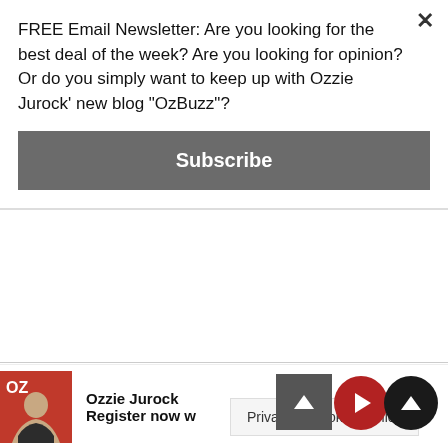FREE Email Newsletter: Are you looking for the best deal of the week? Are you looking for opinion? Or do you simply want to keep up with Ozzie Jurock' new blog "OzBuzz"?
Subscribe
Overall, there has been a “slight” decline in registrations across the board, although some of the newer projects and out of town properties have bucked the trend. Inflation concerns, negative news from the mainstream media, the war in Ukraine, the stock market crash/selloff, future interest rate increases have all contributed to people taking a wait and see approach.
Ozzie Jurock
Register now w
Privacy & Cookies Policy